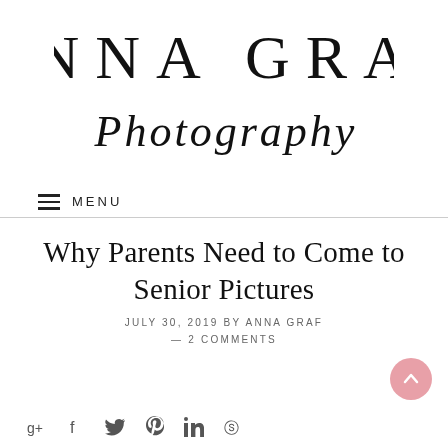[Figure (logo): Anna Graf Photography logo with serif uppercase ANNA GRAF and script Photography text]
≡ MENU
Why Parents Need to Come to Senior Pictures
JULY 30, 2019 BY ANNA GRAF — 2 COMMENTS
[Figure (infographic): Social media share icons: Google+, Facebook, Twitter, Pinterest, LinkedIn, StumbleUpon]